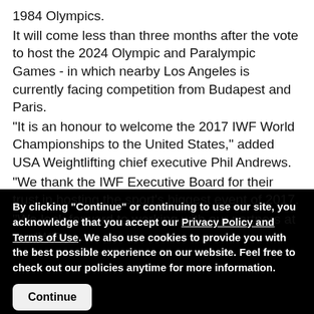1984 Olympics.
It will come less than three months after the vote to host the 2024 Olympic and Paralympic Games - in which nearby Los Angeles is currently facing competition from Budapest and Paris.
"It is an honour to welcome the 2017 IWF World Championships to the United States," added USA Weightlifting chief executive Phil Andrews.
"We thank the IWF Executive Board for their trust in hosting the sport's biggest event of 2017.
"We look forward to working with our partners at the IWF
By clicking "Continue" or continuing to use our site, you acknowledge that you accept our Privacy Policy and Terms of Use. We also use cookies to provide you with the best possible experience on our website. Feel free to check out our policies anytime for more information.
Continue